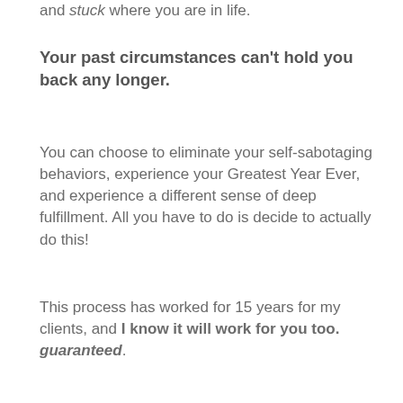and stuck where you are in life.
Your past circumstances can't hold you back any longer.
You can choose to eliminate your self-sabotaging behaviors, experience your Greatest Year Ever, and experience a different sense of deep fulfillment. All you have to do is decide to actually do this!
This process has worked for 15 years for my clients, and I know it will work for you too. guaranteed.